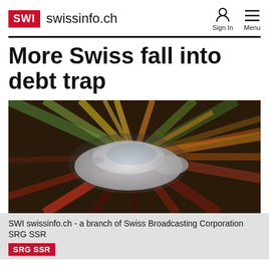SWI swissinfo.ch
More Swiss fall into debt trap
[Figure (photo): Motion-blurred photograph of a car moving at high speed with colorful streaked background suggesting rapid movement]
SWI swissinfo.ch - a branch of Swiss Broadcasting Corporation SRG SSR
SRG SSR